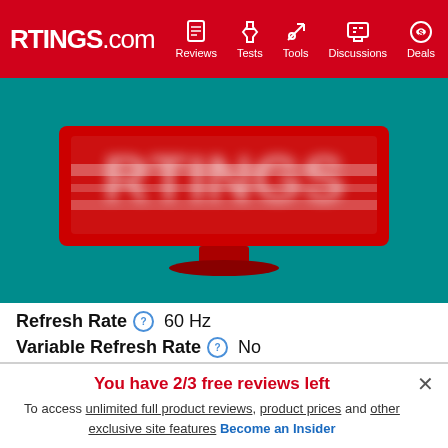RTINGS.com | Reviews | Tests | Tools | Discussions | Deals
[Figure (photo): Blurred RTINGS logo on a teal background with a red monitor display]
Refresh Rate  60 Hz
Variable Refresh Rate  No
The Apple MacBook Air M1 is primarily a productivity
You have 2/3 free reviews left
To access unlimited full product reviews, product prices and other exclusive site features Become an Insider